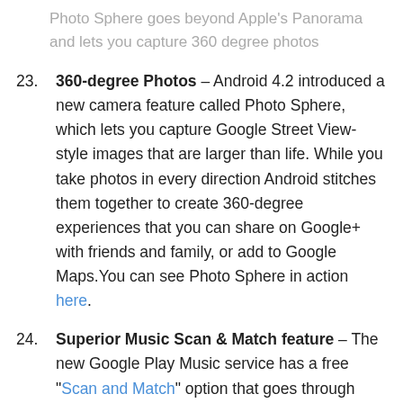Photo Sphere goes beyond Apple's Panorama and lets you capture 360 degree photos
360-degree Photos – Android 4.2 introduced a new camera feature called Photo Sphere, which lets you capture Google Street View-style images that are larger than life. While you take photos in every direction Android stitches them together to create 360-degree experiences that you can share on Google+ with friends and family, or add to Google Maps. You can see Photo Sphere in action here.
Superior Music Scan & Match feature – The new Google Play Music service has a free "Scan and Match" option that goes through your entire music library and saves it to the cloud, so it's accessible from any Internet-connected device. Like iTunes Match, you